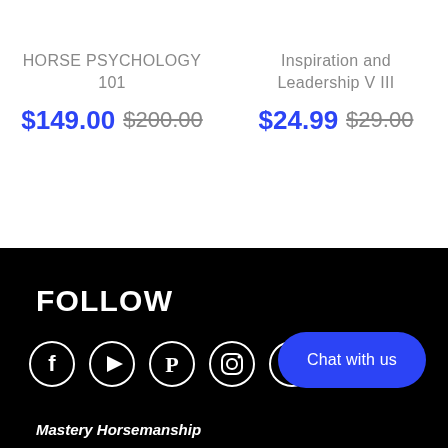HORSE PSYCHOLOGY 101
$149.00 $200.00
Inspiration and Leadership V III
$24.99 $29.00
FOLLOW
[Figure (illustration): Social media icons: Facebook, YouTube, Pinterest, Instagram, Telegram]
Chat with us
Mastery Horsemanship